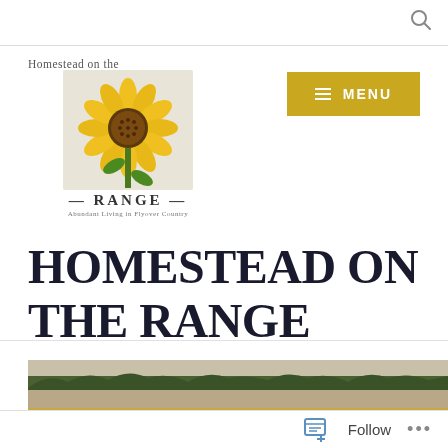Search icon
[Figure (logo): Homestead on the Range logo with sunflower image, text 'Homestead on the', '— RANGE —', 'Abundant Living in Flyover Country']
HOMESTEAD ON THE RANGE
[Figure (photo): Landscape photo showing a flat prairie or riverbank with low golden grass in the foreground, a wide body of water or mudflat, and a tree line in the background under a pale sky]
Follow ...